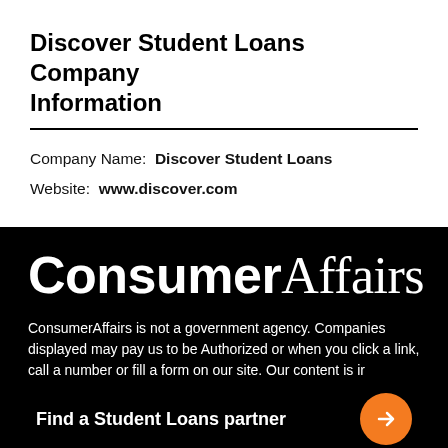Discover Student Loans Company Information
Company Name: Discover Student Loans
Website: www.discover.com
[Figure (logo): ConsumerAffairs logo in white text on black background]
ConsumerAffairs is not a government agency. Companies displayed may pay us to be Authorized or when you click a link, call a number or fill a form on our site. Our content is in
Find a Student Loans partner
consult with your own investment, financial, tax and legal